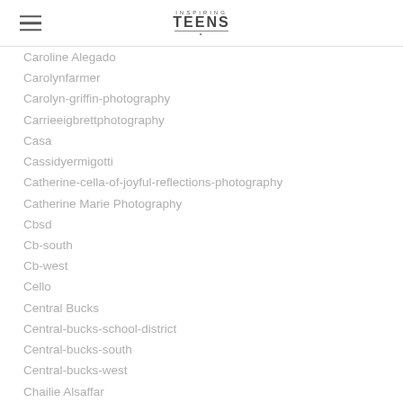Inspiring Teens
Caroline Alegado
Carolynfarmer
Carolyn-griffin-photography
Carrieeigbrettphotography
Casa
Cassidyermigotti
Catherine-cella-of-joyful-reflections-photography
Catherine Marie Photography
Cbsd
Cb-south
Cb-west
Cello
Central Bucks
Central-bucks-school-district
Central-bucks-south
Central-bucks-west
Chailie Alsaffar
Chapel Hill